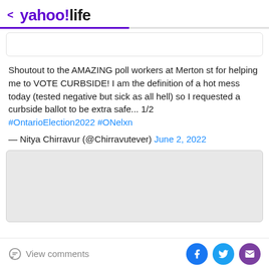< yahoo!life
[Figure (screenshot): Empty white tweet embed card placeholder (top)]
Shoutout to the AMAZING poll workers at Merton st for helping me to VOTE CURBSIDE! I am the definition of a hot mess today (tested negative but sick as all hell) so I requested a curbside ballot to be extra safe... 1/2 #OntarioElection2022 #ONelxn
— Nitya Chirravur (@Chirravutever) June 2, 2022
[Figure (screenshot): Gray tweet embed card placeholder (bottom)]
View comments